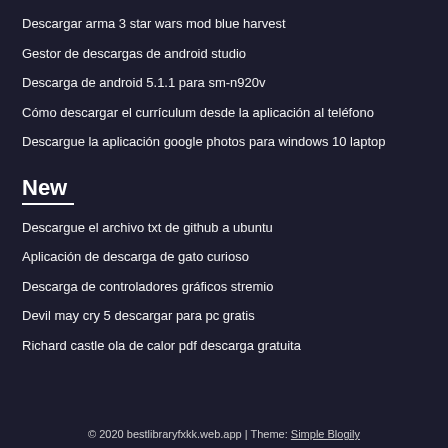Descargar arma 3 star wars mod blue harvest
Gestor de descargas de android studio
Descarga de android 5.1.1 para sm-n920v
Cómo descargar el currículum desde la aplicación al teléfono
Descargue la aplicación google photos para windows 10 laptop
New
Descargue el archivo txt de github a ubuntu
Aplicación de descarga de gato curioso
Descarga de controladores gráficos stremio
Devil may cry 5 descargar para pc gratis
Richard castle ola de calor pdf descarga gratuita
© 2020 bestlibraryfxkk.web.app | Theme: Simple Blogily